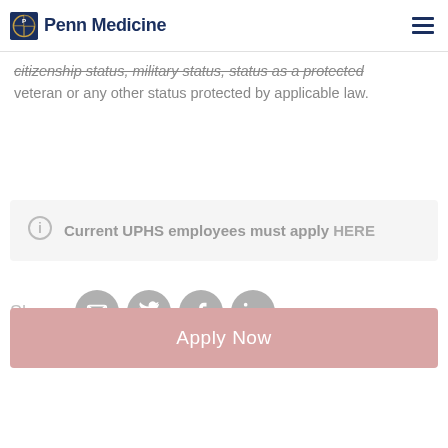Penn Medicine
citizenship status, military status, status as a protected veteran or any other status protected by applicable law.
Current UPHS employees must apply HERE
Share:
Apply Now